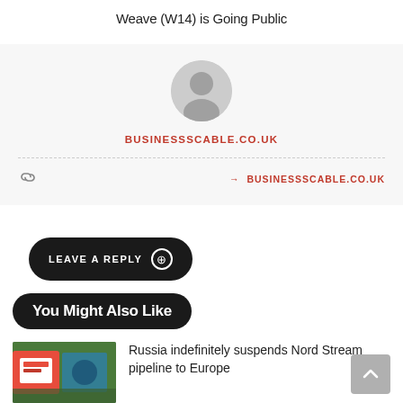Weave (W14) is Going Public
[Figure (illustration): Gray circular avatar/profile icon placeholder on light gray background, with author name BUSINESSSCABLE.CO.UK in red below, and a dashed divider line, link icon on left, and BUSINESSSCABLE.CO.UK navigation link on right]
LEAVE A REPLY
You Might Also Like
[Figure (photo): Thumbnail photo showing road signs outdoors with green trees in background]
Russia indefinitely suspends Nord Stream pipeline to Europe